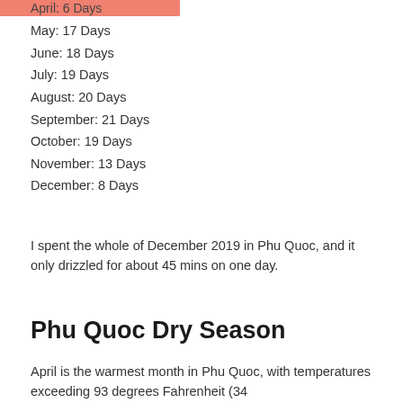April: 6 Days
May: 17 Days
June: 18 Days
July: 19 Days
August: 20 Days
September: 21 Days
October: 19 Days
November: 13 Days
December: 8 Days
I spent the whole of December 2019 in Phu Quoc, and it only drizzled for about 45 mins on one day.
Phu Quoc Dry Season
April is the warmest month in Phu Quoc, with temperatures exceeding 93 degrees Fahrenheit (34